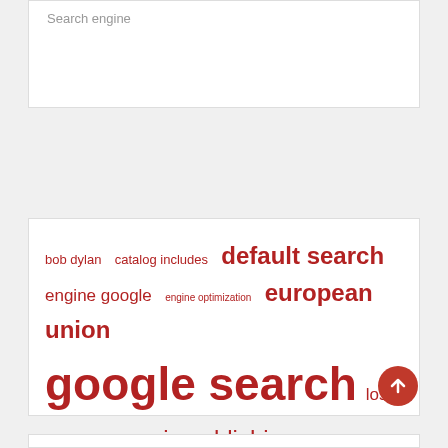Search engine
[Figure (infographic): A tag/word cloud displaying search-related terms in varying font sizes, all in dark red/crimson color. Terms include: bob dylan, catalog includes, default search, engine google, engine optimization, european union, google search, los angeles, music publishing, raised million, search engines, search results, united states, users search, vice president.]
[Figure (other): Scroll-to-top button (red circle with white upward arrow)]